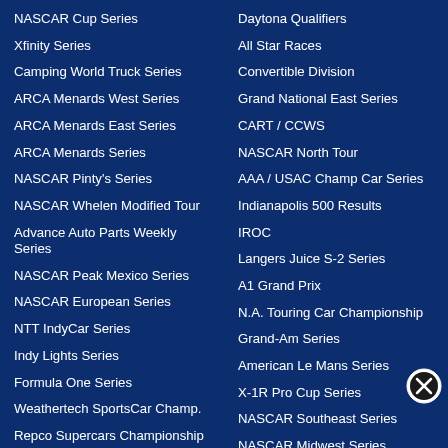NASCAR Cup Series
Xfinity Series
Camping World Truck Series
ARCA Menards West Series
ARCA Menards East Series
ARCA Menards Series
NASCAR Pinty's Series
NASCAR Whelen Modified Tour
Advance Auto Parts Weekly Series
NASCAR Peak Mexico Series
NASCAR European Series
NTT IndyCar Series
Indy Lights Series
Formula One Series
Weathertech SportsCar Champ.
Repco Supercars Championship
ACT Late Model Tour
Daytona Qualifiers
All Star Races
Convertible Division
Grand National East Series
CART / CCWS
NASCAR North Tour
AAA / USAC Champ Car Series
Indianapolis 500 Results
IROC
Langers Juice S-2 Series
A1 Grand Prix
N.A. Touring Car Championship
Grand-Am Series
American Le Mans Series
X-1R Pro Cup Series
NASCAR Southeast Series
NASCAR Midwest Series